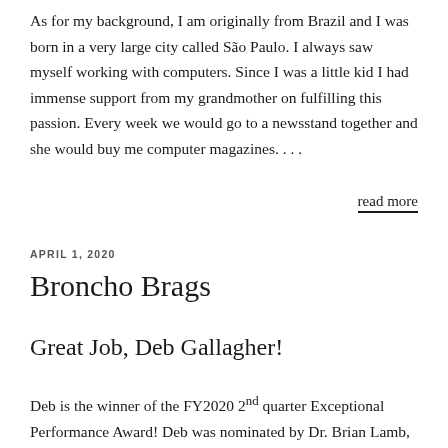As for my background, I am originally from Brazil and I was born in a very large city called São Paulo. I always saw myself working with computers. Since I was a little kid I had immense support from my grandmother on fulfilling this passion. Every week we would go to a newsstand together and she would buy me computer magazines. . . .
read more
APRIL 1, 2020
Broncho Brags
Great Job, Deb Gallagher!
Deb is the winner of the FY2020 2nd quarter Exceptional Performance Award! Deb was nominated by Dr. Brian Lamb, director of the School of Music, for her hard work...